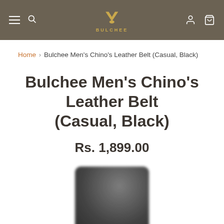BULCHEE navigation bar with hamburger menu, search, logo, account and cart icons
Home > Bulchee Men's Chino's Leather Belt (Casual, Black)
Bulchee Men's Chino's Leather Belt (Casual, Black)
Rs. 1,899.00
[Figure (photo): Blurred product image of a black leather belt buckle at the bottom of the page]